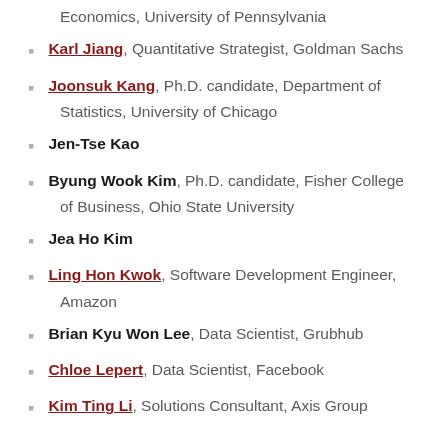Economics, University of Pennsylvania
Karl Jiang, Quantitative Strategist, Goldman Sachs
Joonsuk Kang, Ph.D. candidate, Department of Statistics, University of Chicago
Jen-Tse Kao
Byung Wook Kim, Ph.D. candidate, Fisher College of Business, Ohio State University
Jea Ho Kim
Ling Hon Kwok, Software Development Engineer, Amazon
Brian Kyu Won Lee, Data Scientist, Grubhub
Chloe Lepert, Data Scientist, Facebook
Kim Ting Li, Solutions Consultant, Axis Group